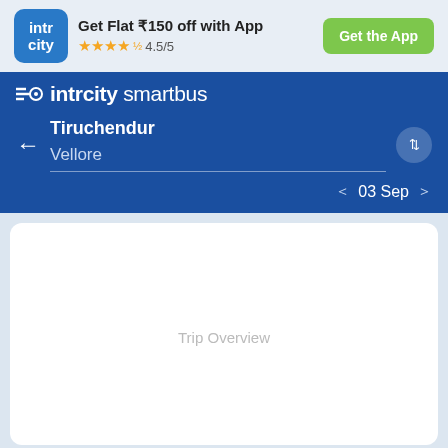[Figure (screenshot): IntrCity app logo - blue rounded square with 'intr city' text in white]
Get Flat ₹150 off with App
★★★★½ 4.5/5
Get the App
intrcity smartbus
← Tiruchendur
Vellore
< 03 Sep >
Trip Overview
Bus Information Between Tiruchendur &